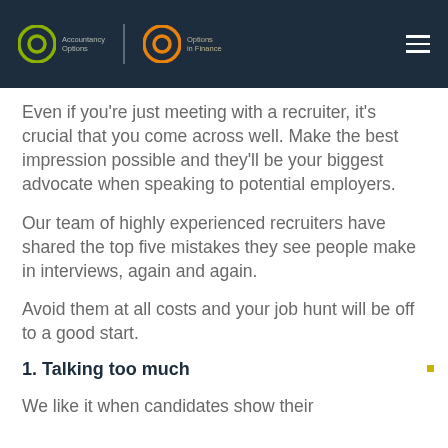Accountancy Options | Options in Finance
Even if you're just meeting with a recruiter, it's crucial that you come across well. Make the best impression possible and they'll be your biggest advocate when speaking to potential employers.
Our team of highly experienced recruiters have shared the top five mistakes they see people make in interviews, again and again.
Avoid them at all costs and your job hunt will be off to a good start.
1. Talking too much
We like it when candidates show their